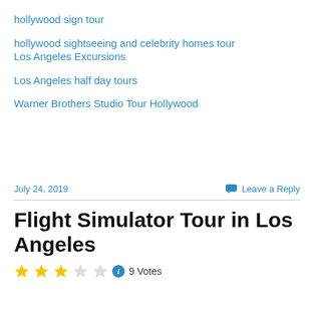hollywood sign tour
hollywood sightseeing and celebrity homes tour
Los Angeles Excursions
Los Angeles half day tours
Warner Brothers Studio Tour Hollywood
July 24, 2019
Leave a Reply
Flight Simulator Tour in Los Angeles
9 Votes